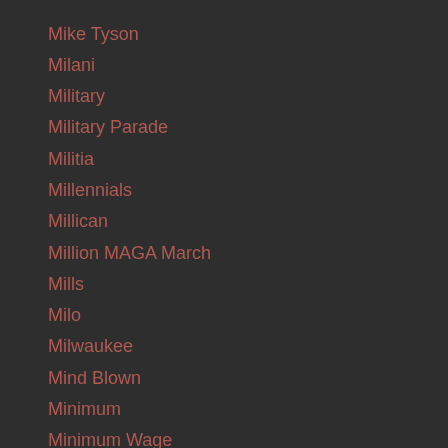Mike Tyson
Milani
Military
Military Parade
Militia
Millennials
Millican
Million MAGA March
Mills
Milo
Milwaukee
Mind Blown
Minimum
Minimum Wage
Minneapolis
Misery
Miss
Missiles
Missle
Missles